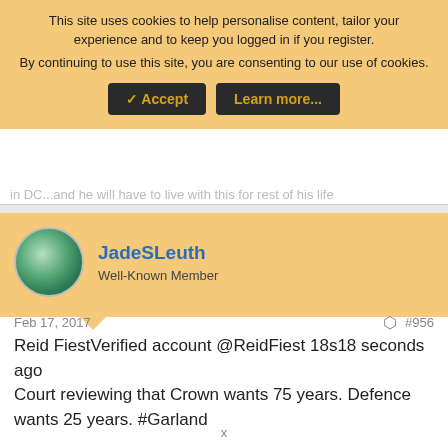This site uses cookies to help personalise content, tailor your experience and to keep you logged in if you register.
By continuing to use this site, you are consenting to our use of cookies.
✓ Accept | Learn more...
in DC...and he will have to live with this for rest of his life
JadeSLeuth
Well-Known Member
Feb 17, 2017
#956
Reid FiestVerified account &#8207;@ReidFiest 18s18 seconds ago
Court reviewing that Crown wants 75 years. Defence wants 25 years. #Garland